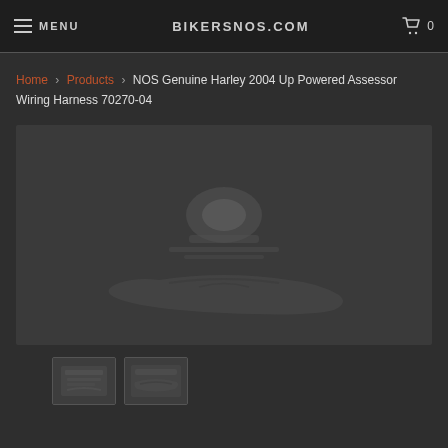MENU  bikersnos.com  0
Home > Products > NOS Genuine Harley 2004 Up Powered Assessor Wiring Harness 70270-04
[Figure (photo): Product photo of NOS Genuine Harley 2004 Up Powered Assessor Wiring Harness 70270-04, shown on dark grey background]
[Figure (photo): Thumbnail 1: product label/document view of wiring harness]
[Figure (photo): Thumbnail 2: wiring harness product view]